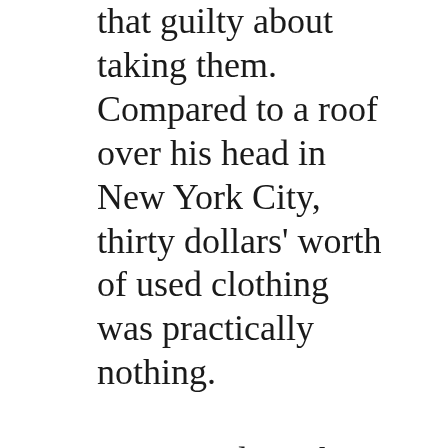that guilty about taking them. Compared to a roof over his head in New York City, thirty dollars' worth of used clothing was practically nothing.

Compared to what he'd